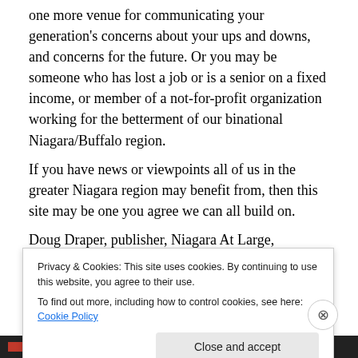one more venue for communicating your generation's concerns about your ups and downs, and concerns for the future. Or you may be someone who has lost a job or is a senior on a fixed income, or member of a not-for-profit organization working for the betterment of our binational Niagara/Buffalo region.
If you have news or viewpoints all of us in the greater Niagara region may benefit from, then this site may be one you agree we can all build on.
Doug Draper, publisher, Niagara At Large,
drapers@vaxxine.com.
Privacy & Cookies: This site uses cookies. By continuing to use this website, you agree to their use.
To find out more, including how to control cookies, see here: Cookie Policy
Close and accept